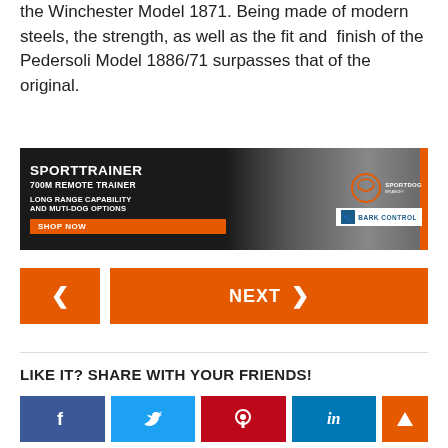the Winchester Model 1871.  Being made of modern steels, the strength, as well as the fit and  finish of the Pedersoli Model 1886/71 surpasses that of the original.
[Figure (photo): SportTrainer 700M Remote Trainer advertisement banner featuring a dark dog with SportDog brand logo and Bark Control badge. Text reads: SPORTTRAINER, 700M REMOTE TRAINER, LONG RANGE CAPABILITY AND MUTI-DOG OPTIONS, SHOP NOW button.]
< | NEXT >
LIKE IT? SHARE WITH YOUR FRIENDS!